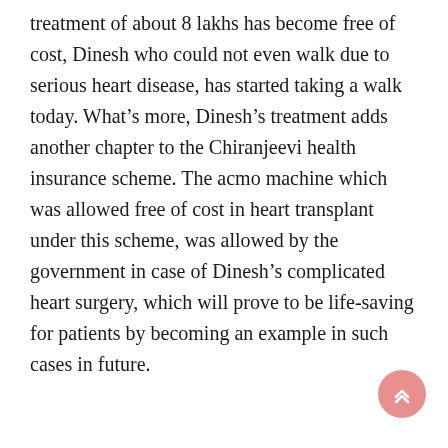treatment of about 8 lakhs has become free of cost, Dinesh who could not even walk due to serious heart disease, has started taking a walk today. What's more, Dinesh's treatment adds another chapter to the Chiranjeevi health insurance scheme. The acmo machine which was allowed free of cost in heart transplant under this scheme, was allowed by the government in case of Dinesh's complicated heart surgery, which will prove to be life-saving for patients by becoming an example in such cases in future.